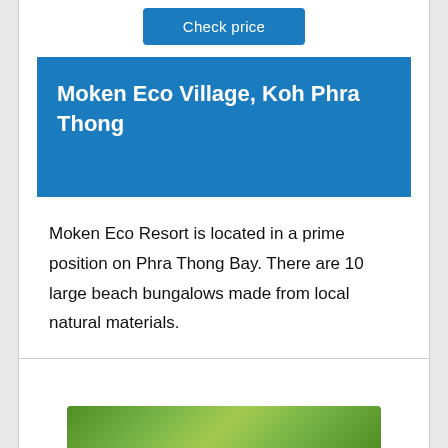[Figure (screenshot): Check price button - blue rounded rectangle button with white text]
Moken Eco Village, Koh Phra Thong
Moken Eco Resort is located in a prime position on Phra Thong Bay. There are 10 large beach bungalows made from local natural materials.
[Figure (photo): Partial view of tropical greenery/trees at the bottom of the page]